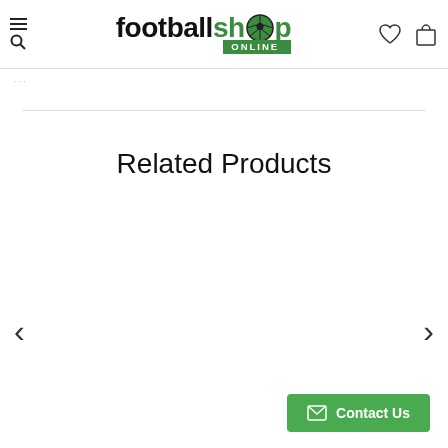footballshop ONLINE
Related Products
Contact Us